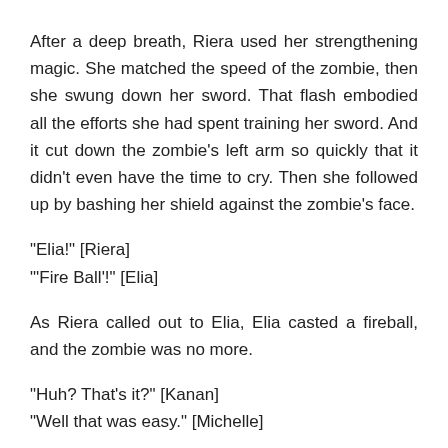After a deep breath, Riera used her strengthening magic. She matched the speed of the zombie, then she swung down her sword. That flash embodied all the efforts she had spent training her sword. And it cut down the zombie's left arm so quickly that it didn't even have the time to cry. Then she followed up by bashing her shield against the zombie's face.
“Elia!” [Riera]
‘Fire Ball’!” [Elia]
As Riera called out to Elia, Elia casted a fireball, and the zombie was no more.
“Huh? That’s it?” [Kanan]
“Well that was easy.” [Michelle]